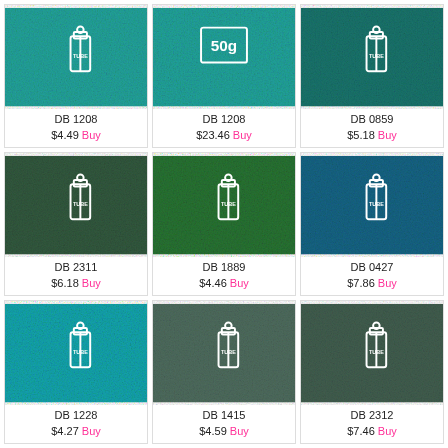[Figure (photo): Bead product DB 1208 in teal/turquoise color, tube packaging icon]
DB 1208
$4.49 Buy
[Figure (photo): Bead product DB 1208 in teal/turquoise color, 50g packaging icon]
DB 1208
$23.46 Buy
[Figure (photo): Bead product DB 0859 in dark teal color, tube packaging icon]
DB 0859
$5.18 Buy
[Figure (photo): Bead product DB 2311 in dark green color, tube packaging icon]
DB 2311
$6.18 Buy
[Figure (photo): Bead product DB 1889 in bright green color, tube packaging icon]
DB 1889
$4.46 Buy
[Figure (photo): Bead product DB 0427 in blue-teal color, tube packaging icon]
DB 0427
$7.86 Buy
[Figure (photo): Bead product DB 1228 in bright teal color, tube packaging icon]
DB 1228
$4.27 Buy
[Figure (photo): Bead product DB 1415 in sage green color, tube packaging icon]
DB 1415
$4.59 Buy
[Figure (photo): Bead product DB 2312 in slate green color, tube packaging icon]
DB 2312
$7.46 Buy